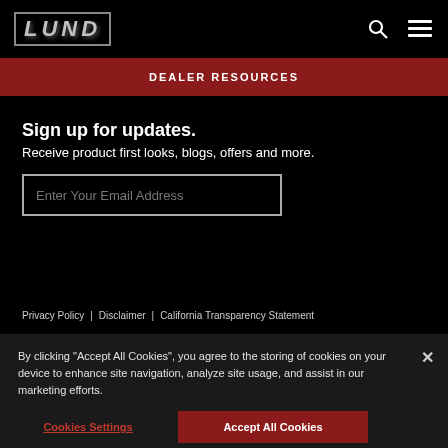LUND
DEALER RESOURCES
Sign up for updates.
Receive product first looks, blogs, offers and more.
Enter Your Email Address
Privacy Policy | Disclaimer | California Transparency Statement
By clicking "Accept All Cookies", you agree to the storing of cookies on your device to enhance site navigation, analyze site usage, and assist in our marketing efforts.
Cookies Settings
Accept All Cookies